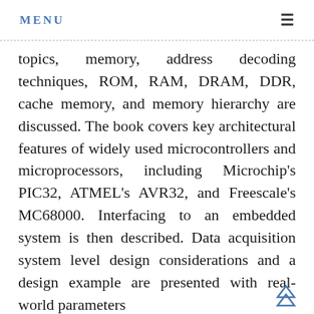MENU
topics, memory, address decoding techniques, ROM, RAM, DRAM, DDR, cache memory, and memory hierarchy are discussed. The book covers key architectural features of widely used microcontrollers and microprocessors, including Microchip's PIC32, ATMEL's AVR32, and Freescale's MC68000. Interfacing to an embedded system is then described. Data acquisition system level design considerations and a design example are presented with real-world parameters